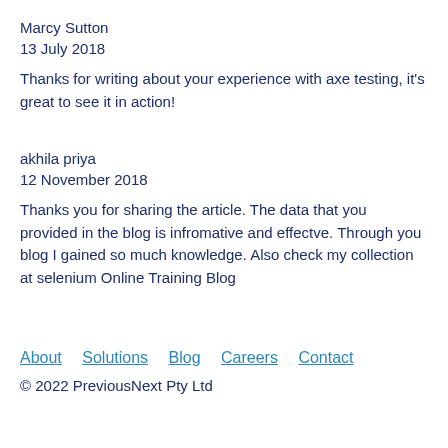Marcy Sutton
13 July 2018
Thanks for writing about your experience with axe testing, it's great to see it in action!
akhila priya
12 November 2018
Thanks you for sharing the article. The data that you provided in the blog is infromative and effectve. Through you blog I gained so much knowledge. Also check my collection at selenium Online Training Blog
About  Solutions  Blog  Careers  Contact
© 2022 PreviousNext Pty Ltd